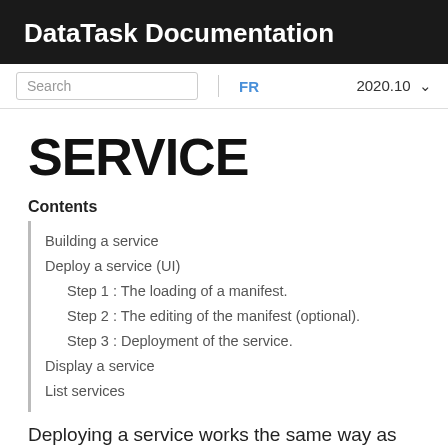DataTask Documentation
Search  FR  2020.10
SERVICE
Contents
Building a service
Deploy a service (UI)
Step 1 : The loading of a manifest.
Step 2 : The editing of the manifest (optional).
Step 3 : Deployment of the service.
Display a service
List services
Deploying a service works the same way as deploying a job or a cronjob.